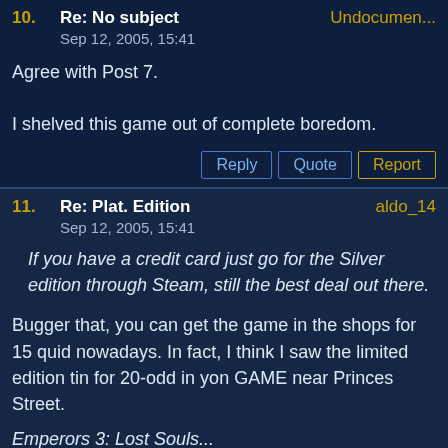10. Re: No subject — Undocumen...
Sep 12, 2005, 15:41
Agree with Post 7.

I shelved this game out of complete boredom.
11. Re: Plat. Edition — aldo_14
Sep 12, 2005, 15:41
If you have a credit card just go for the Silver edition through Steam, still the best deal out there.
Bugger that, you can get the game in the shops for 15 quid nowadays. In fact, I think I saw the limited edition tin for 20-odd in yon GAME near Princes Street.
Emperors 3: Lost Souls...